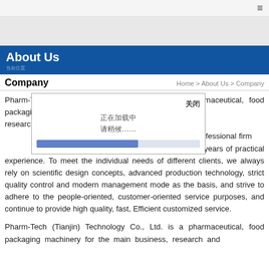≡
About Us
Company    Home > About Us > Company
Pharm-Tech (Tianjin) Technology Co., Ltd. is a pharmaceutical, food packaging machinery for the main business, research and development, design, manufacturing, sales and after-sales management as one of professional firm with many years of practical experience. To meet the individual needs of different clients, we always rely on scientific design concepts, advanced production technology, strict quality control and modern management mode as the basis, and strive to adhere to the people-oriented, customer-oriented service purposes, and continue to provide high quality, fast, Efficient customized service.
Pharm-Tech (Tianjin) Technology Co., Ltd. is a pharmaceutical, food packaging machinery for the main business, research and